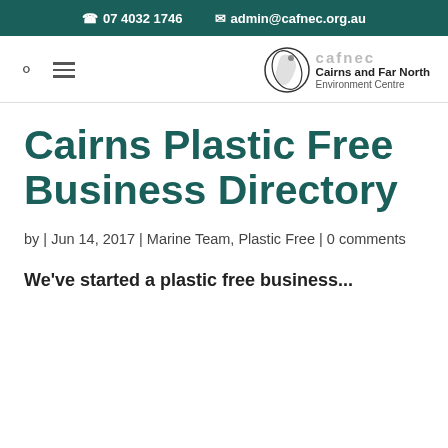07 4032 1746  admin@cafnec.org.au
[Figure (logo): Cairns and Far North Environment Centre logo with circular snake/leaf emblem and text 'cafnec', 'Cairns and Far North', 'Environment Centre']
Cairns Plastic Free Business Directory
by | Jun 14, 2017 | Marine Team, Plastic Free | 0 comments
We've started a plastic free business...